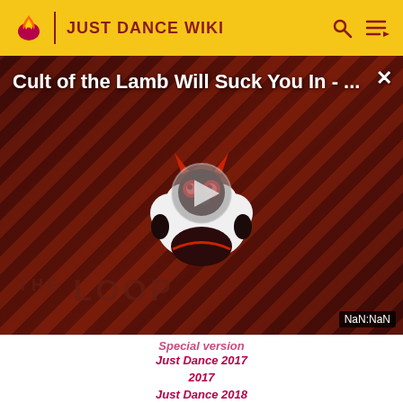JUST DANCE WIKI
[Figure (screenshot): Video thumbnail for 'Cult of the Lamb Will Suck You In - ...' with diagonal red/dark stripes background, a cartoon lamb character with devil horns, a play button in the center, and THE LOOP branding at the bottom left. NaN:NaN timestamp shown at bottom right.]
Special version
Just Dance 2017
2017
Just Dance 2018
Just Dance 2019
Just Dance 2020
Just Dance 2021